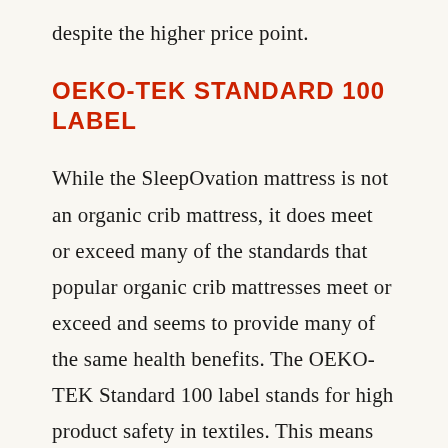despite the higher price point.
OEKO-TEK STANDARD 100 LABEL
While the SleepOvation mattress is not an organic crib mattress, it does meet or exceed many of the standards that popular organic crib mattresses meet or exceed and seems to provide many of the same health benefits. The OEKO-TEK Standard 100 label stands for high product safety in textiles. This means that the fabric